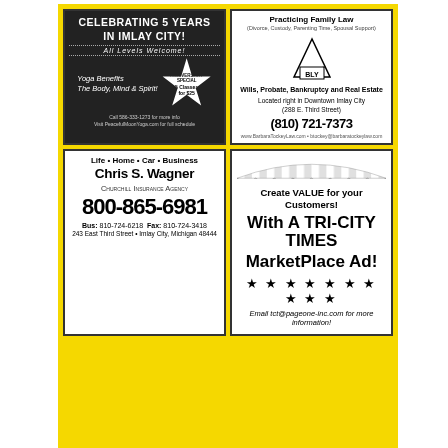[Figure (infographic): Yoga studio ad: black background, 'CELEBRATING 5 YEARS IN IMLAY CITY!', ALL LEVELS WELCOME!, Yoga Benefits The Body, Mind & Spirit!, Anniversary Special 5 Classes for $25, call and website info]
[Figure (infographic): Bly Law attorney ad: Practicing Family Law, Divorce/Custody/Parenting Time/Spousal Support, Wills Probate Bankruptcy and Real Estate, Downtown Imlay City 288 E Third Street, (810) 721-7373, website and email]
[Figure (infographic): Churchill Insurance Agency: Life Home Car Business, Chris S. Wagner, 800-865-6981, Bus 810-724-6218 Fax 810-724-3418, 243 East Third Street Imlay City Michigan 48444]
[Figure (infographic): Tri-City Times MarketPlace Ad: Create VALUE for your Customers! With A TRI-CITY TIMES MarketPlace Ad! Stars. Email tct@pageone-inc.com for more information!]